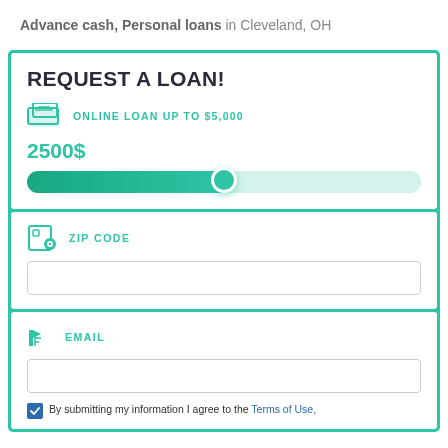Advance cash, Personal loans in Cleveland, OH
REQUEST A LOAN!
ONLINE LOAN UP TO $5,000
2500$
[Figure (infographic): Horizontal slider showing loan amount, filled halfway (2500$) with teal color and circular thumb]
ZIP CODE
[Figure (infographic): Zip code input field, empty text box]
EMAIL
[Figure (infographic): Email input field, empty text box]
By submitting my information I agree to the Terms of Use,